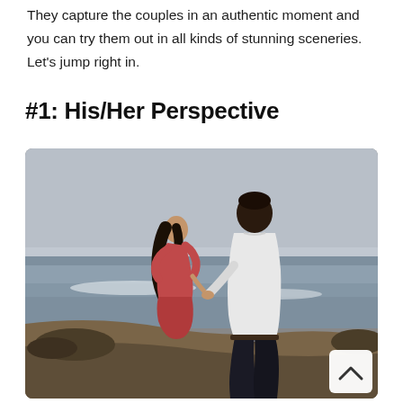They capture the couples in an authentic moment and you can try them out in all kinds of stunning sceneries. Let's jump right in.
#1: His/Her Perspective
[Figure (photo): A couple standing on a coastal cliff holding hands. The woman is wearing a red dress and has long dark hair, looking back toward the man. The man is wearing a white shirt and dark pants, standing with his back to the camera. The ocean and overcast sky are visible in the background.]